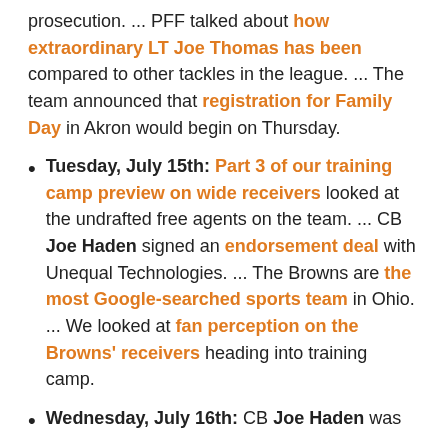prosecution. ... PFF talked about how extraordinary LT Joe Thomas has been compared to other tackles in the league. ... The team announced that registration for Family Day in Akron would begin on Thursday.
Tuesday, July 15th: Part 3 of our training camp preview on wide receivers looked at the undrafted free agents on the team. ... CB Joe Haden signed an endorsement deal with Unequal Technologies. ... The Browns are the most Google-searched sports team in Ohio. ... We looked at fan perception on the Browns' receivers heading into training camp.
Wednesday, July 16th: CB Joe Haden was...